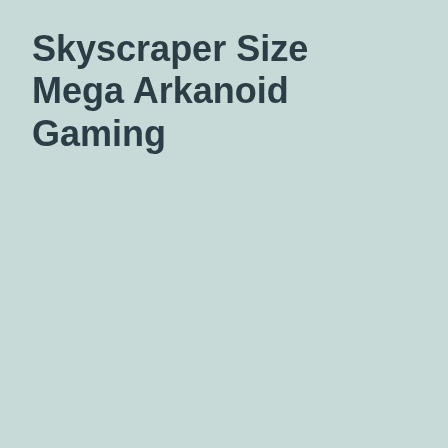Skyscraper Size Mega Arkanoid Gaming